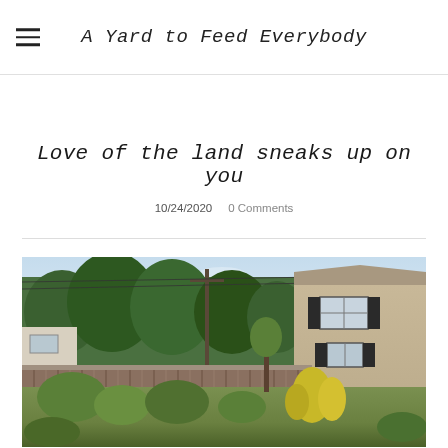A Yard to Feed Everybody
Love of the land sneaks up on you
10/24/2020   0 Comments
[Figure (photo): Outdoor photo showing a backyard garden scene with a wooden fence, overgrown green plants and yellow wildflowers, trees in the background, a utility pole with power lines, and the side of a beige two-story house with black shutters and white windows on the right side.]